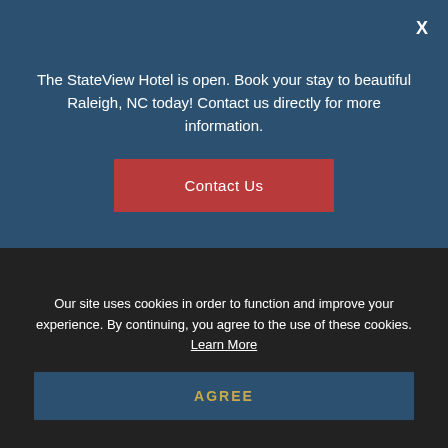The StateView Hotel is open. Book your stay to beautiful Raleigh, NC today! Contact us directly for more information.
Contact Us
wedding day special, check out our list of local vendors for your wedding.
the STATEVIEW  📞 919.743.0055  ☰
Our site uses cookies in order to function and improve your experience. By continuing, you agree to the use of these cookies. Learn More
AGREE